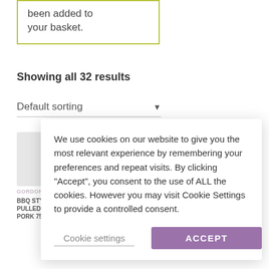been added to your basket.
Showing all 32 results
Default sorting
We use cookies on our website to give you the most relevant experience by remembering your preferences and repeat visits. By clicking “Accept”, you consent to the use of ALL the cookies. However you may visit Cookie Settings to provide a controlled consent.
Cookie settings
ACCEPT
BBQ STYLE PULLED PORK 75G
GRILLED CHILLI 75G